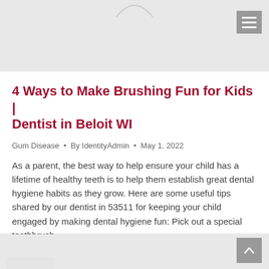4 Ways to Make Brushing Fun for Kids | Dentist in Beloit WI
Gum Disease • By IdentityAdmin • May 1, 2022
As a parent, the best way to help ensure your child has a lifetime of healthy teeth is to help them establish great dental hygiene habits as they grow. Here are some useful tips shared by our dentist in 53511 for keeping your child engaged by making dental hygiene fun: Pick out a special toothbrush....